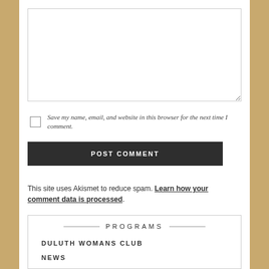[Figure (other): Comment text area input field with resize handle]
Save my name, email, and website in this browser for the next time I comment.
POST COMMENT
This site uses Akismet to reduce spam. Learn how your comment data is processed.
PROGRAMS
DULUTH WOMANS CLUB
NEWS
2022 TOUR OF HOMES & GARDENS
MEMBERS ONLY